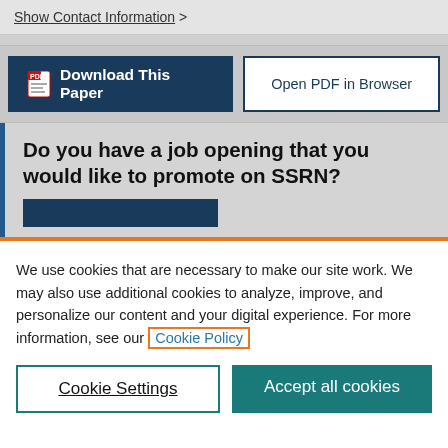Show Contact Information >
[Figure (screenshot): Download This Paper button (dark navy blue) and Open PDF in Browser button (white with navy border)]
Do you have a job opening that you would like to promote on SSRN?
We use cookies that are necessary to make our site work. We may also use additional cookies to analyze, improve, and personalize our content and your digital experience. For more information, see our Cookie Policy
Cookie Settings
Accept all cookies